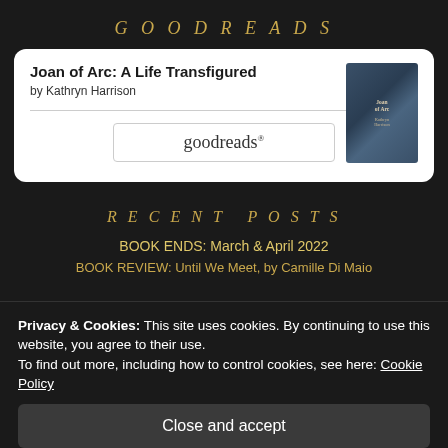GOODREADS
[Figure (screenshot): Goodreads widget card showing book 'Joan of Arc: A Life Transfigured' by Kathryn Harrison with book cover thumbnail and a goodreads button]
RECENT POSTS
BOOK ENDS: March & April 2022
BOOK REVIEW: Until We Meet, by Camille Di Maio
Privacy & Cookies: This site uses cookies. By continuing to use this website, you agree to their use.
To find out more, including how to control cookies, see here: Cookie Policy
Close and accept